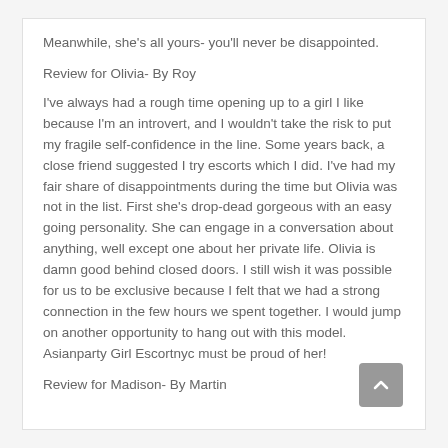Meanwhile, she's all yours- you'll never be disappointed.
Review for Olivia- By Roy
I've always had a rough time opening up to a girl I like because I'm an introvert, and I wouldn't take the risk to put my fragile self-confidence in the line. Some years back, a close friend suggested I try escorts which I did. I've had my fair share of disappointments during the time but Olivia was not in the list. First she's drop-dead gorgeous with an easy going personality. She can engage in a conversation about anything, well except one about her private life. Olivia is damn good behind closed doors. I still wish it was possible for us to be exclusive because I felt that we had a strong connection in the few hours we spent together. I would jump on another opportunity to hang out with this model. Asianparty Girl Escortnyc must be proud of her!
Review for Madison- By Martin